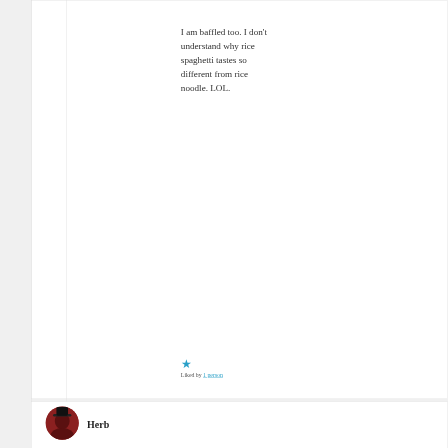I am baffled too. I don't understand why rice spaghetti tastes so different from rice noodle. LOL.
Liked by 1 person
Herb